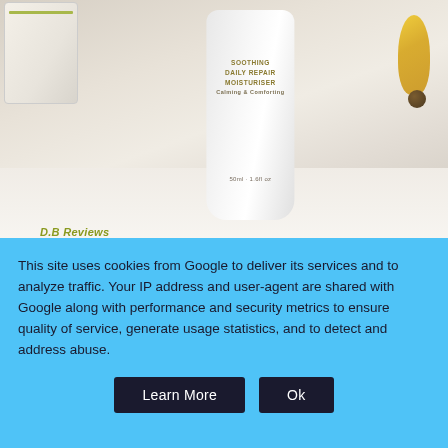[Figure (photo): Photo of Aromatherapy Associates Soothing Daily Repair Moisturiser bottle (50ml/1.6fl oz), a white frosted tube with gold text, alongside a product box and amber/yellow decorative beads on a white cloth background. 'D.B Reviews' watermark in olive/gold italic text at bottom left.]
Aromatherapy Associates Soothing Daily Repair
This site uses cookies from Google to deliver its services and to analyze traffic. Your IP address and user-agent are shared with Google along with performance and security metrics to ensure quality of service, generate usage statistics, and to detect and address abuse.